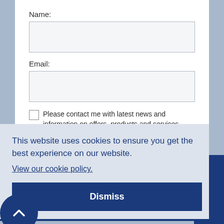Name:
Email:
Please contact me with latest news and information on offers, products and services which may be of interest to me.
SUBMIT
This website uses cookies to ensure you get the best experience on our website.
View our cookie policy.
Dismiss
Stroke travel insurance